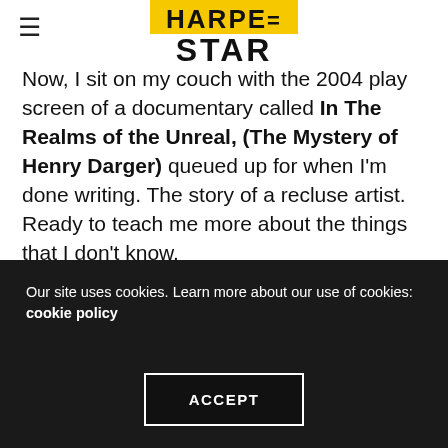HARPE STAR (logo)
Now, I sit on my couch with the 2004 play screen of a documentary called In The Realms of the Unreal, (The Mystery of Henry Darger) queued up for when I'm done writing. The story of a recluse artist. Ready to teach me more about the things that I don't know.
I sit here with a freshly baked banana bread cooling on the counter; that I spent time making just before the museum.
Our site uses cookies. Learn more about our use of cookies: cookie policy
ACCEPT